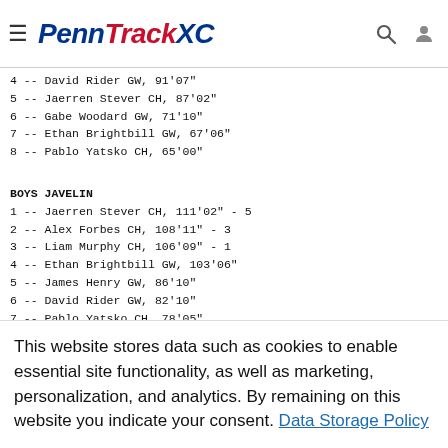PennTrackXC
4 -- David Rider GW, 91'07"
5 -- Jaerren Stever CH, 87'02"
6 -- Gabe Woodard GW, 71'10"
7 -- Ethan Brightbill GW, 67'06"
8 -- Pablo Yatsko CH, 65'00"
BOYS JAVELIN
1 -- Jaerren Stever CH, 111'02" - 5
2 -- Alex Forbes CH, 108'11" - 3
3 -- Liam Murphy CH, 106'09" - 1
4 -- Ethan Brightbill GW, 103'06"
5 -- James Henry GW, 86'10"
6 -- David Rider GW, 82'10"
7 -- Pablo Yatsko CH, 78'05"
8 -- Cassian Neeb GW, 77'07"
BOYS SHOTPUT
This website stores data such as cookies to enable essential site functionality, as well as marketing, personalization, and analytics. By remaining on this website you indicate your consent. Data Storage Policy